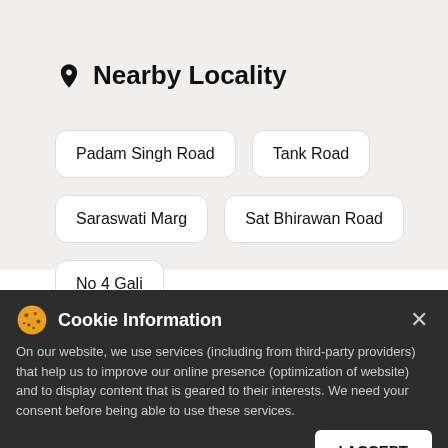Nearby Locality
Padam Singh Road
Tank Road
Saraswati Marg
Sat Bhirawan Road
No 4 Gali
Categories
Cake Shop | Bakery Shop | Bakeries & Dessert Shop | Bakeries And Patisseries | Dessert Restaurant
Cookie Information
On our website, we use services (including from third-party providers) that help us to improve our online presence (optimization of website) and to display content that is geared to their interests. We need your consent before being able to use these services.
monginis
ORDER NOW